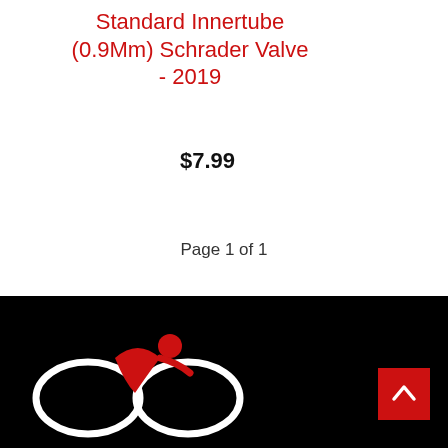Standard Innertube (0.9Mm) Schrader Valve - 2019
$7.99
Page 1 of 1
[Figure (logo): OSO cycling shop logo — two white oval wheels with a red cyclist figure in the center, on a black background footer bar]